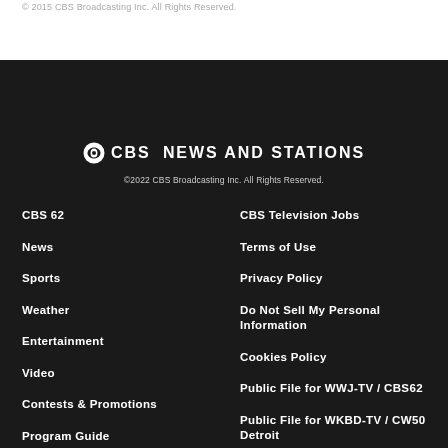© 2015 CBS Broadcasting Inc. All Rights Reserved.
[Figure (logo): CBS News and Stations logo with CBS eye icon]
©2022 CBS Broadcasting Inc. All Rights Reserved.
CBS 62
News
Sports
Weather
Entertainment
Video
Contests & Promotions
Program Guide
Sitemap
Advertise
CBS Television Jobs
Terms of Use
Privacy Policy
Do Not Sell My Personal Information
Cookies Policy
Public File for WWJ-TV / CBS62
Public File for WKBD-TV / CW50 Detroit
Public Inspection File Help
FCC Applications